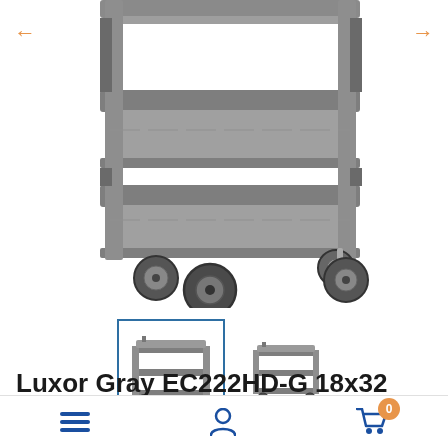[Figure (photo): Close-up photo of a gray Luxor EC222HD-G utility cart with flat shelves and casters, showing lower two shelves and wheels on white background. Two orange navigation arrows (left and right) are visible on the sides.]
[Figure (photo): Thumbnail strip with two small images of the Luxor gray utility cart. The first thumbnail is selected (blue border), the second is unselected.]
Luxor Gray EC222HD-G 18x32 Cart with 3 Flat Shelves
Menu | Account | Cart (0)